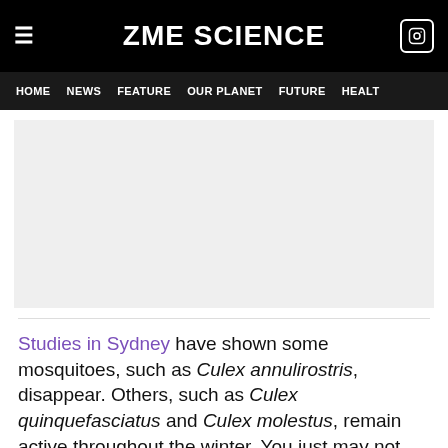ZME SCIENCE
HOME  NEWS  FEATURE  OUR PLANET  FUTURE  HEALTH
[Figure (other): Advertisement placeholder — light grey rectangle]
Studies in Sydney have shown some mosquitoes, such as Culex annulirostris, disappear. Others, such as Culex quinquefasciatus and Culex molestus, remain active throughout the winter. You just may not